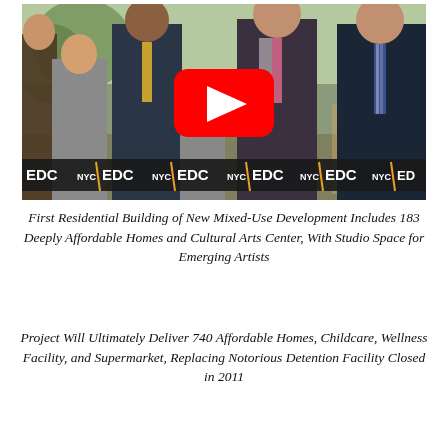[Figure (photo): Group of people at a ribbon-cutting ceremony holding an NYC EDC banner/ribbon. A YouTube play button overlay appears on the image, indicating it is a video thumbnail. Several adults and a child are visible, with the EDC logo repeated on the ribbon.]
First Residential Building of New Mixed-Use Development Includes 183 Deeply Affordable Homes and Cultural Arts Center, With Studio Space for Emerging Artists
Project Will Ultimately Deliver 740 Affordable Homes, Childcare, Wellness Facility, and Supermarket, Replacing Notorious Detention Facility Closed in 2011